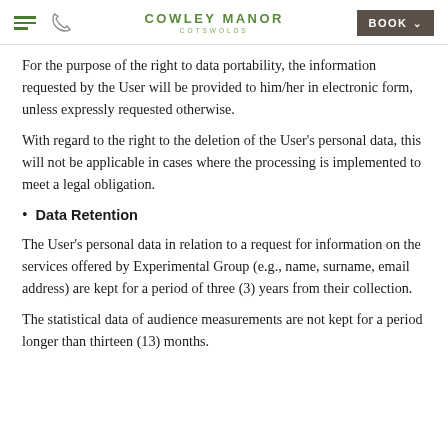COWLEY MANOR COTSWOLDS | BOOK
For the purpose of the right to data portability, the information requested by the User will be provided to him/her in electronic form, unless expressly requested otherwise.
With regard to the right to the deletion of the User's personal data, this will not be applicable in cases where the processing is implemented to meet a legal obligation.
Data Retention
The User's personal data in relation to a request for information on the services offered by Experimental Group (e.g., name, surname, email address) are kept for a period of three (3) years from their collection.
The statistical data of audience measurements are not kept for a period longer than thirteen (13) months.